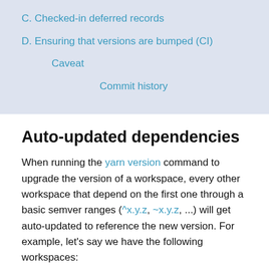C. Checked-in deferred records
D. Ensuring that versions are bumped (CI)
Caveat
Commit history
Auto-updated dependencies
When running the yarn version command to upgrade the version of a workspace, every other workspace that depend on the first one through a basic semver ranges (^x.y.z, ~x.y.z, ...) will get auto-updated to reference the new version. For example, let's say we have the following workspaces: